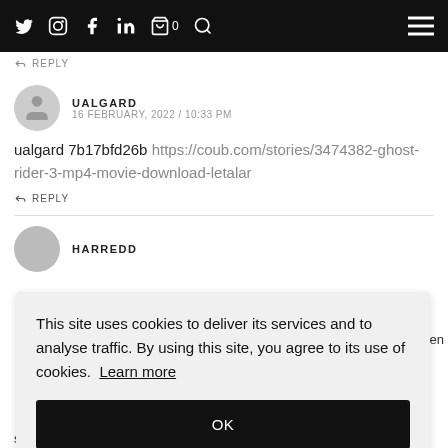← REPLY
[Figure (screenshot): Navigation bar with social media icons (Twitter, Instagram, Facebook, LinkedIn), cart icon with 0, search icon, and hamburger menu on black background]
UALGARD
16 FEBRUARY, 2022 / 10:33 PM
ualgard 7b17bfd26b https://coub.com/stories/3474382-ghost-rider-3-mp4-movie-download-letalar
↩ REPLY
HARREDD
This site uses cookies to deliver its services and to analyse traffic. By using this site, you agree to its use of cookies. Learn more
OK
Utorren
shabot 7b17bfd26b https://coub.com/stories/3468210-202-the-